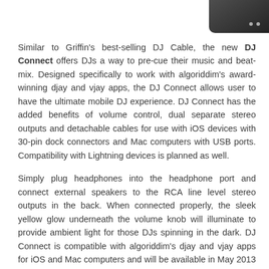[Figure (photo): Partial image of a DJ Connect device shown in the upper right corner of the page]
Similar to Griffin's best-selling DJ Cable, the new DJ Connect offers DJs a way to pre-cue their music and beat-mix. Designed specifically to work with algoriddim's award-winning djay and vjay apps, the DJ Connect allows user to have the ultimate mobile DJ experience. DJ Connect has the added benefits of volume control, dual separate stereo outputs and detachable cables for use with iOS devices with 30-pin dock connectors and Mac computers with USB ports. Compatibility with Lightning devices is planned as well.
Simply plug headphones into the headphone port and connect external speakers to the RCA line level stereo outputs in the back. When connected properly, the sleek yellow glow underneath the volume knob will illuminate to provide ambient light for those DJs spinning in the dark. DJ Connect is compatible with algoriddim's djay and vjay apps for iOS and Mac computers and will be available in May 2013 for $99.99.